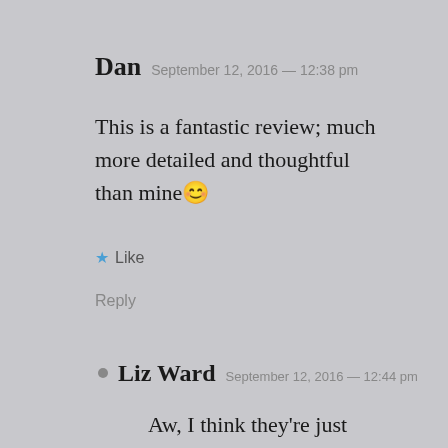Dan  September 12, 2016 — 12:38 pm
This is a fantastic review; much more detailed and thoughtful than mine 😊
★ Like
Reply
• Liz Ward  September 12, 2016 — 12:44 pm
Aw, I think they're just different, I don't think mine is better! I just had a